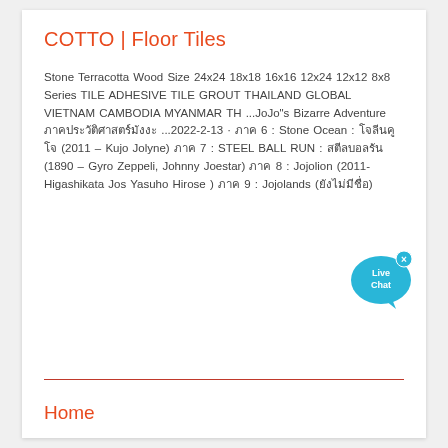COTTO | Floor Tiles
Stone Terracotta Wood Size 24x24 18x18 16x16 12x24 12x12 8x8 Series TILE ADHESIVE TILE GROUT THAILAND GLOBAL VIETNAM CAMBODIA MYANMAR TH ...JoJo"s Bizarre Adventure ภาค ประวัติศาสตร์ ...2022-2-13 · ภาค 6 : Stone Ocean : โจลีนคูโจ (2011 – Kujo Jolyne) ภาค 7 : STEEL BALL RUN : สตีลบอลรัน (1890 – Gyro Zeppeli, Johnny Joestar) ภาค 8 : Jojolion (2011- Higashikata Josuke, Yasuho Hirose ) ภาค 9 : Jojolands (ยังไม่มีชื่อ)
[Figure (other): Live Chat button widget - blue speech bubble with 'Live Chat' text and an x close button]
Home